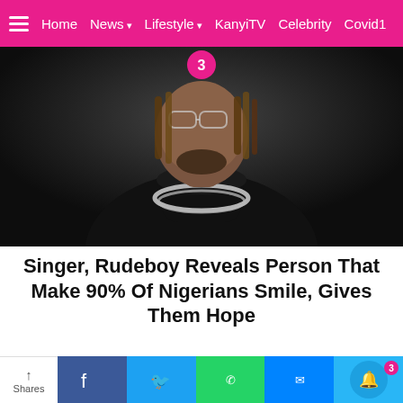Home  News ▾  Lifestyle ▾  KanyiTV  Celebrity  Covid19
[Figure (photo): Portrait photo of singer Rudeboy wearing a black turtleneck sweater and silver chain necklace, against a dark background. A pink badge with '3' overlays the top center.]
Singer, Rudeboy Reveals Person That Make 90% Of Nigerians Smile, Gives Them Hope
[Figure (screenshot): Notification popup showing thumbnail of Anambra Lawmaker with text: 'Anambra Lawmaker, Nnamdi Okafor Slumps' and '3 minutes ago'. An X close button appears at top right of the popup.]
Shares  Facebook  Twitter  WhatsApp  Messenger  Bell(3)